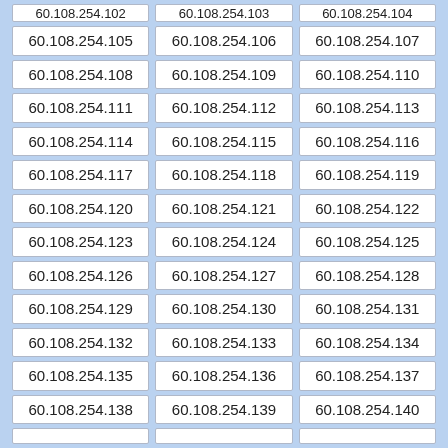| 60.108.254.102 | 60.108.254.103 | 60.108.254.104 |
| 60.108.254.105 | 60.108.254.106 | 60.108.254.107 |
| 60.108.254.108 | 60.108.254.109 | 60.108.254.110 |
| 60.108.254.111 | 60.108.254.112 | 60.108.254.113 |
| 60.108.254.114 | 60.108.254.115 | 60.108.254.116 |
| 60.108.254.117 | 60.108.254.118 | 60.108.254.119 |
| 60.108.254.120 | 60.108.254.121 | 60.108.254.122 |
| 60.108.254.123 | 60.108.254.124 | 60.108.254.125 |
| 60.108.254.126 | 60.108.254.127 | 60.108.254.128 |
| 60.108.254.129 | 60.108.254.130 | 60.108.254.131 |
| 60.108.254.132 | 60.108.254.133 | 60.108.254.134 |
| 60.108.254.135 | 60.108.254.136 | 60.108.254.137 |
| 60.108.254.138 | 60.108.254.139 | 60.108.254.140 |
| 60.108.254.141 | 60.108.254.142 | 60.108.254.143 |